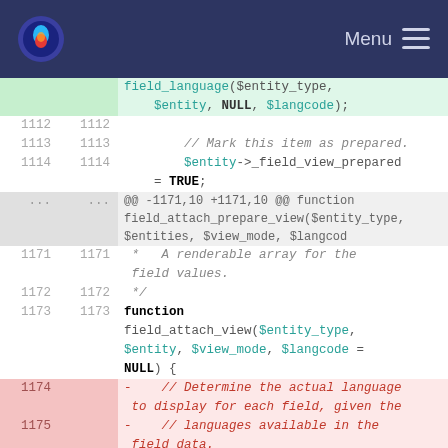Menu
field_language($entity_type, $entity, NULL, $langcode);
1112 1112
1113 1113   // Mark this item as prepared.
1114 1114   $entity->_field_view_prepared = TRUE;
...  ...   @@ -1171,10 +1171,10 @@ function field_attach_prepare_view($entity_type, $entities, $view_mode, $langcod
1171 1171   *  A renderable array for the field values.
1172 1172   */
1173 1173   function field_attach_view($entity_type, $entity, $view_mode, $langcode = NULL) {
1174      -   // Determine the actual language to display for each field, given the
1175      -   // languages available in the field data.
1176         $display_language =